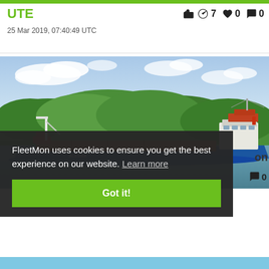UTE
25 Mar 2019, 07:40:49 UTC
👍 7  ❤ 0  💬 0
[Figure (photo): Blue and orange cargo/bulk carrier ship named ALESMA sailing on a river or canal, with green tree-covered hills in the background and blue sky with clouds.]
FleetMon uses cookies to ensure you get the best experience on our website. Learn more
Got it!
💬 0